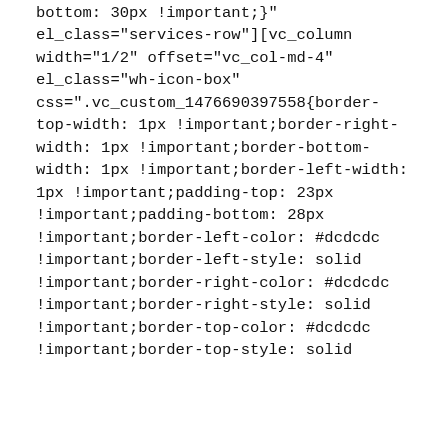bottom: 30px !important;}"
el_class="services-row"][vc_column
width="1/2" offset="vc_col-md-4"
el_class="wh-icon-box"
css=".vc_custom_1476690397558{border-top-width: 1px !important;border-right-width: 1px !important;border-bottom-width: 1px !important;border-left-width: 1px !important;padding-top: 23px !important;padding-bottom: 28px !important;border-left-color: #dcdcdc !important;border-left-style: solid !important;border-right-color: #dcdcdc !important;border-right-style: solid !important;border-top-color: #dcdcdc !important;border-top-style: solid